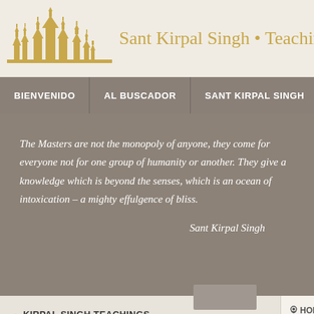Sant Kirpal Singh • Teachings
BIENVENIDO | AL BUSCADOR | SANT KIRPAL SINGH | MULT
The Masters are not the monopoly of anyone, they come for everyone not for one group of humanity or another. They give a knowledge which is beyond the senses, which is an ocean of intoxication – a mighty effulgence of bliss.

Sant Kirpal Singh
KIRPAL SINGH TEACHINGS BIENVENIDO
AL BUSCADOR
HOME ▶ DISCURS
Address to the Parliam